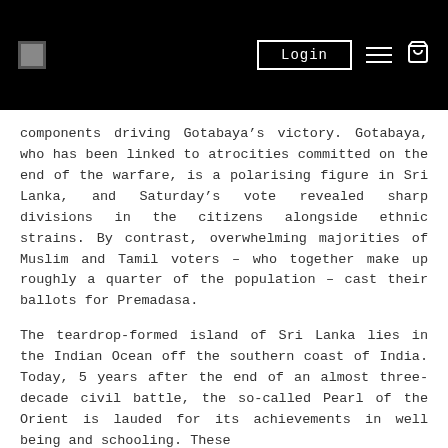Login
components driving Gotabaya’s victory. Gotabaya, who has been linked to atrocities committed on the end of the warfare, is a polarising figure in Sri Lanka, and Saturday’s vote revealed sharp divisions in the citizens alongside ethnic strains. By contrast, overwhelming majorities of Muslim and Tamil voters – who together make up roughly a quarter of the population – cast their ballots for Premadasa.
The teardrop-formed island of Sri Lanka lies in the Indian Ocean off the southern coast of India. Today, 5 years after the end of an almost three-decade civil battle, the so-called Pearl of the Orient is lauded for its achievements in well being and schooling. These